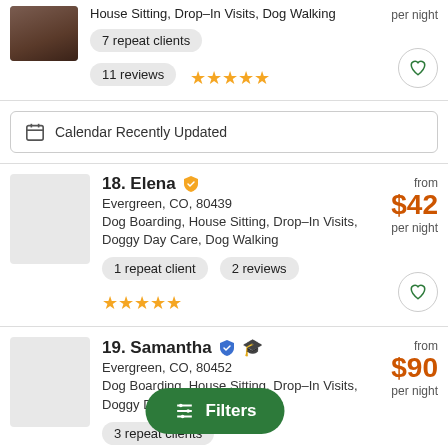House Sitting, Drop–In Visits, Dog Walking
per night
7 repeat clients
11 reviews ★★★★★
Calendar Recently Updated
18. Elena — Evergreen, CO, 80439 — Dog Boarding, House Sitting, Drop–In Visits, Doggy Day Care, Dog Walking — from $42 per night
1 repeat client
2 reviews ★★★★★
19. Samantha — Evergreen, CO, 80452 — Dog Boarding, House Sitting, Drop–In Visits, Doggy Day Care... — from $90 per night
3 repeat clients
Filters